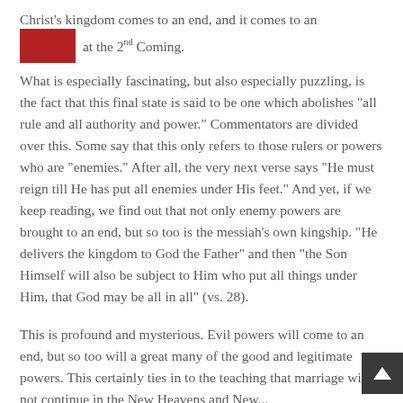Christ's kingdom comes to an end, and it comes to an [redacted] at the 2nd Coming.
What is especially fascinating, but also especially puzzling, is the fact that this final state is said to be one which abolishes "all rule and all authority and power." Commentators are divided over this. Some say that this only refers to those rulers or powers who are "enemies." After all, the very next verse says "He must reign till He has put all enemies under His feet." And yet, if we keep reading, we find out that not only enemy powers are brought to an end, but so too is the messiah's own kingship. "He delivers the kingdom to God the Father" and then "the Son Himself will also be subject to Him who put all things under Him, that God may be all in all" (vs. 28).
This is profound and mysterious. Evil powers will come to an end, but so too will a great many of the good and legitimate powers. This certainly ties in to the teaching that marriage will not continue in the New Heavens and...